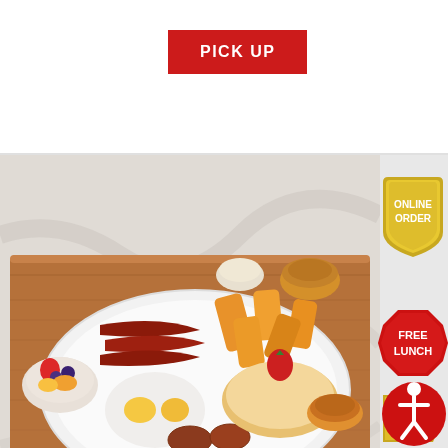PICK UP
[Figure (photo): A breakfast platter on a wooden board with eggs sunny side up, beef bacon, grilled salami, home fried potatoes (wedges), pancake with strawberry on top, a bowl of mixed fruit, dipping sauce, and butter on a white plate, set on a marble background.]
[Figure (infographic): Golden badge reading ONLINE ORDER]
[Figure (infographic): Red badge reading FREE LUNCH]
[Figure (infographic): Gold tag reading GIFT CARD]
[Figure (infographic): Red circular accessibility icon]
American
Our European breakfast café serves the good ol' American breakfast, too. Our beef bacon, grilled salami, home fried potatoes, pancakes, and eggs are sure to boost your energy